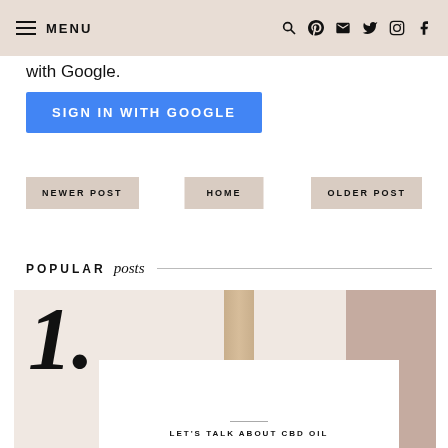MENU
with Google.
SIGN IN WITH GOOGLE
NEWER POST
HOME
OLDER POST
POPULAR posts
[Figure (photo): Popular post card #1 with large italic numeral '1.' and inner white card showing title 'LET'S TALK ABOUT CBD OIL' with decorative rope/twine image in background]
LET'S TALK ABOUT CBD OIL